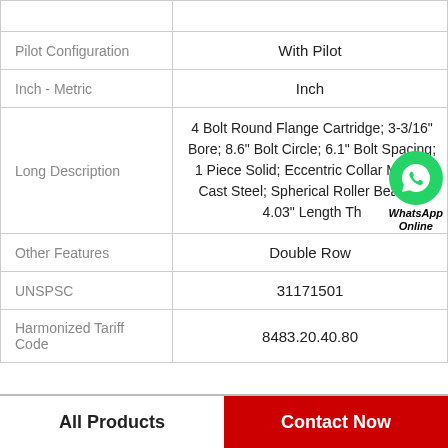| Property | Value |
| --- | --- |
| Pilot Configuration | With Pilot |
| Inch - Metric | Inch |
| Long Description | 4 Bolt Round Flange Cartridge; 3-3/16" Bore; 8.6" Bolt Circle; 6.1" Bolt Spacing; 1 Piece Solid; Eccentric Collar Mount; Cast Steel; Spherical Roller Bearing; 4.03" Length Th... |
| Other Features | Double Row |
| UNSPSC | 31171501 |
| Harmonized Tariff Code | 8483.20.40.80 |
All Products | Contact Now